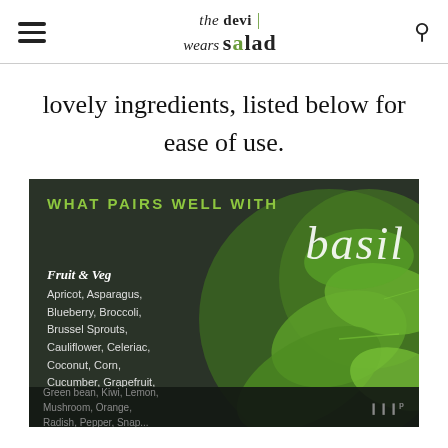the devi wears salad
lovely ingredients, listed below for ease of use.
[Figure (infographic): Infographic titled 'WHAT PAIRS WELL WITH basil' over a dark background with green basil leaves. Lists Fruit & Veg pairings: Apricot, Asparagus, Blueberry, Broccoli, Brussel Sprouts, Cauliflower, Celeriac, Coconut, Corn, Cucumber, Grapefruit, Green bean, Kiwi, Lemon, Mushroom, Orange, Radish, Pepper, etc.]